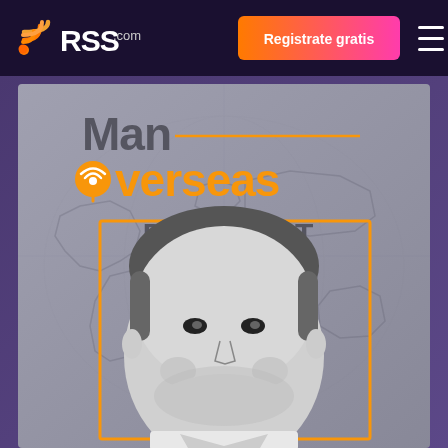[Figure (screenshot): RSS.com website navigation bar with orange gradient RSS feed icon logo, white RSS.com text, orange-to-pink gradient 'Registrate gratis' button, and white hamburger menu icon on dark purple/navy background]
[Figure (photo): Man Overseas Podcast cover art showing a smiling man in black and white against a gray background with faint world map outline, orange decorative frame border, podcast title text 'Man Overseas PODCAST' in gray and orange colors]